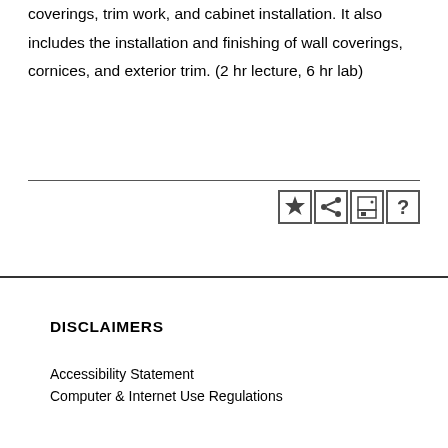coverings, trim work, and cabinet installation. It also includes the installation and finishing of wall coverings, cornices, and exterior trim. (2 hr lecture, 6 hr lab)
[Figure (other): Row of four icon buttons: star/bookmark, share, print, and help (question mark), each in a square border]
DISCLAIMERS
Accessibility Statement
Computer & Internet Use Regulations